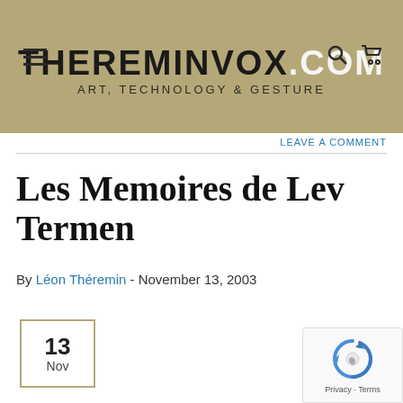THEREMINVOX.COM — Art, Technology & Gesture
Leave a comment
Les Memoires de Lev Termen
By Léon Théremin - November 13, 2003
[Figure (other): Date box showing 13 Nov]
[Figure (other): reCAPTCHA widget with Privacy - Terms link]